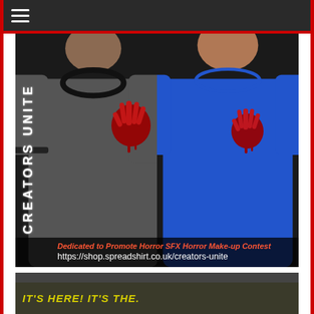☰ (navigation menu)
[Figure (photo): Two people wearing t-shirts with bloody handprint logos. Left person wears a dark gray ringer t-shirt, right person wears a royal blue t-shirt. Text on left side reads 'CREATORS UNITE' vertically. Bottom overlay reads 'Dedicated to Promote Horror SFX Horror Make-up Contest' and 'https://shop.spreadshirt.co.uk/creators-unite']
Dedicated to Promote Horror SFX Horror Make-up Contest
https://shop.spreadshirt.co.uk/creators-unite
SPOOKY DOOKY PODCAST
[Figure (photo): Partial image at bottom with yellow text partially visible reading "IT'S HERE! IT'S THE."]